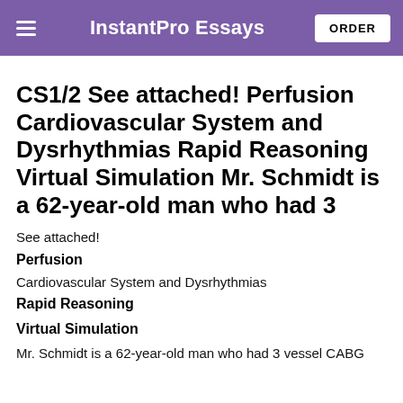InstantPro Essays
CS1/2 See attached! Perfusion Cardiovascular System and Dysrhythmias Rapid Reasoning Virtual Simulation Mr. Schmidt is a 62-year-old man who had 3
See attached!
Perfusion
Cardiovascular System and Dysrhythmias
Rapid Reasoning
Virtual Simulation
Mr. Schmidt is a 62-year-old man who had 3 vessel CABG